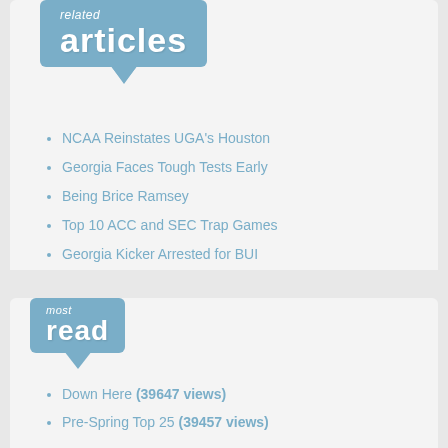[Figure (other): Related articles badge with blue rounded rectangle and downward pointing triangle, text 'related articles']
NCAA Reinstates UGA's Houston
Georgia Faces Tough Tests Early
Being Brice Ramsey
Top 10 ACC and SEC Trap Games
Georgia Kicker Arrested for BUI
[Figure (other): Most read badge with blue rounded rectangle and downward pointing triangle, text 'most read']
Down Here (39647 views)
Pre-Spring Top 25 (39457 views)